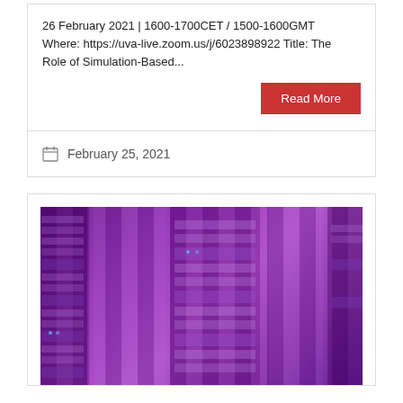26 February 2021 | 1600-1700CET / 1500-1600GMT Where: https://uva-live.zoom.us/j/6023898922 Title: The Role of Simulation-Based...
Read More
February 25, 2021
[Figure (photo): Server rack room with purple-tinted overlay showing data center equipment]